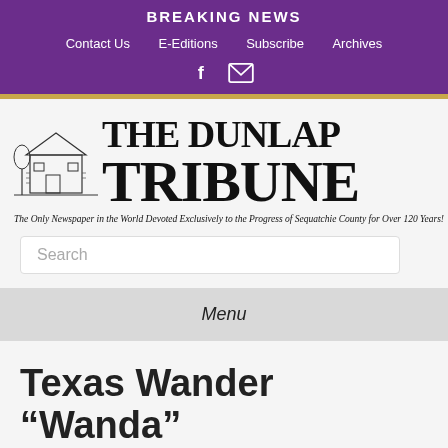BREAKING NEWS
Contact Us  E-Editions  Subscribe  Archives
[Figure (logo): The Dunlap Tribune newspaper logo with illustration of building and tagline: The Only Newspaper in the World Devoted Exclusively to the Progress of Sequatchie County for Over 120 Years!]
Search
Menu
Texas Wander “Wanda”